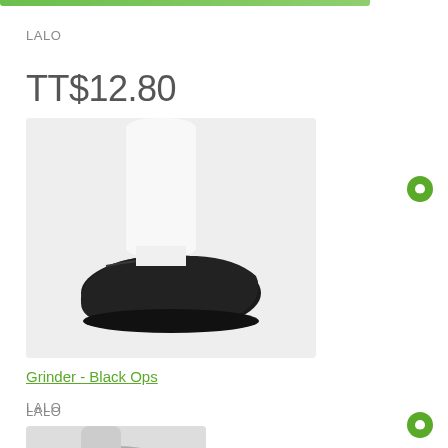[Figure (other): Green top bar / header stripe]
LALO
TT$12.80
[Figure (photo): Product photo of Grinder - Black Ops shoe on mannequin leg, black low-top shoe with white sock/leg]
Grinder - Black Ops
LALO
TT$12.80
[Figure (other): Green pin/location icon on right side, first instance]
[Figure (other): Green pin/location icon on right side, second instance]
[Figure (photo): Partial product photo at bottom, appears to be another shoe product, only top visible]